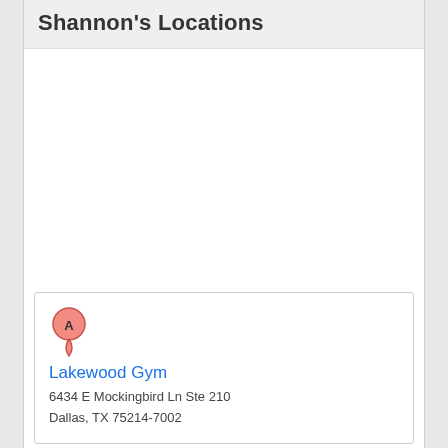Shannon's Locations
[Figure (map): Blank white map area showing location for Lakewood Gym in Dallas, TX]
Lakewood Gym
6434 E Mockingbird Ln Ste 210
Dallas, TX 75214-7002